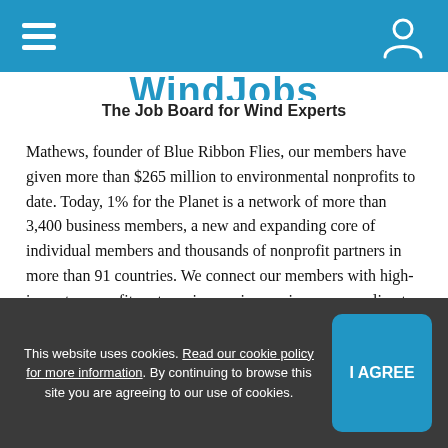WindJobs — The Job Board for Wind Experts
The Job Board for Wind Experts
Mathews, founder of Blue Ribbon Flies, our members have given more than $265 million to environmental nonprofits to date. Today, 1% for the Planet is a network of more than 3,400 business members, a new and expanding core of individual members and thousands of nonprofit partners in more than 91 countries. We connect our members with high-impact nonprofit partners in our six core issue areas: climate, food, land, pollution, water and wildlife.
Our headquarters are located in Burlington, VT with staff located around the world.
This website uses cookies. Read our cookie policy for more information. By continuing to browse this site you are agreeing to our use of cookies.